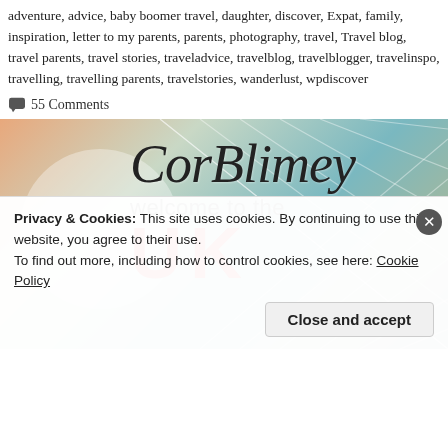adventure, advice, baby boomer travel, daughter, discover, Expat, family, inspiration, letter to my parents, parents, photography, travel, Travel blog, travel parents, travel stories, traveladvice, travelblog, travelblogger, travelinspo, travelling, travelling parents, travelstories, wanderlust, wpdiscover
55 Comments
[Figure (photo): Cor Blimey blog banner image with cursive/handwritten 'Cor Blimey' text, 'welcome to the' subtitle, large red 'UK' text, overlaid on a photo with a net/mesh background and circular translucent overlay.]
Privacy & Cookies: This site uses cookies. By continuing to use this website, you agree to their use.
To find out more, including how to control cookies, see here: Cookie Policy
Close and accept